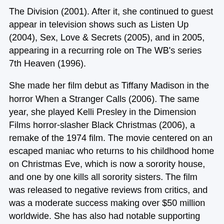The Division (2001). After it, she continued to guest appear in television shows such as Listen Up (2004), Sex, Love & Secrets (2005), and in 2005, appearing in a recurring role on The WB's series 7th Heaven (1996).
She made her film debut as Tiffany Madison in the horror When a Stranger Calls (2006). The same year, she played Kelli Presley in the Dimension Films horror-slasher Black Christmas (2006), a remake of the 1974 film. The movie centered on an escaped maniac who returns to his childhood home on Christmas Eve, which is now a sorority house, and one by one kills all sorority sisters. The film was released to negative reviews from critics, and was a moderate success making over $50 million worldwide. She has also had notable supporting roles in Click (2006), Live! (2007) and Taken (2008).
In 2007, she appeared on The CW's supernatural drama series Supernatural (2005), playing Ruby, a demon and appearing in six episodes. She also appeared in CBS horror mystery miniseries Harper's Island (2009), portraying Patricia "Trish" Wellington, a bride-to-be. The series centered on a group of family and friends who gather for a wedding on an island known for its sinister past